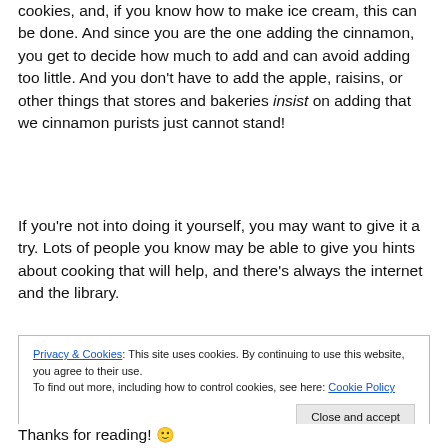cookies, and, if you know how to make ice cream, this can be done. And since you are the one adding the cinnamon, you get to decide how much to add and can avoid adding too little. And you don't have to add the apple, raisins, or other things that stores and bakeries insist on adding that we cinnamon purists just cannot stand!
If you're not into doing it yourself, you may want to give it a try. Lots of people you know may be able to give you hints about cooking that will help, and there's always the internet and the library.
Privacy & Cookies: This site uses cookies. By continuing to use this website, you agree to their use. To find out more, including how to control cookies, see here: Cookie Policy. Close and accept
Thanks for reading! 🙂